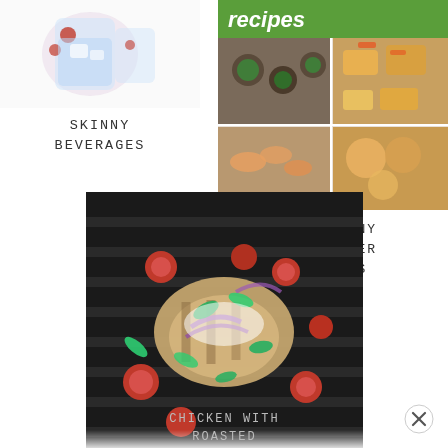[Figure (photo): Skinny beverages cover image showing drinks with cranberries/pomegranate in glass containers on white background]
SKINNY BEVERAGES
[Figure (photo): 23 Skinny Appetizer Recipes cover image showing collage of various appetizer food photos including stuffed mushrooms, shrimp, and other finger foods]
23 SKINNY APPETIZER RECIPES
[Figure (photo): Grilled chicken with roasted tomatoes, red onion, and green herbs/basil on a dark grill pan]
CHICKEN WITH ROASTED